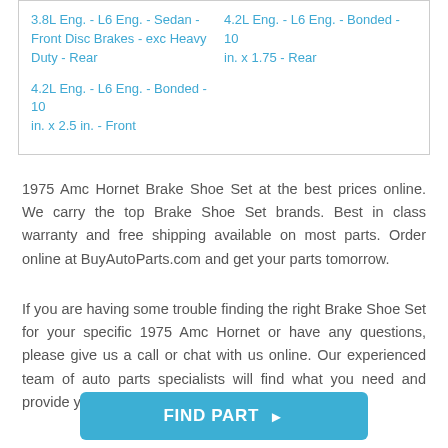3.8L Eng. - L6 Eng. - Sedan - Front Disc Brakes - exc Heavy Duty - Rear
4.2L Eng. - L6 Eng. - Bonded - 10 in. x 1.75 - Rear
4.2L Eng. - L6 Eng. - Bonded - 10 in. x 2.5 in. - Front
1975 Amc Hornet Brake Shoe Set at the best prices online. We carry the top Brake Shoe Set brands. Best in class warranty and free shipping available on most parts. Order online at BuyAutoParts.com and get your parts tomorrow.
If you are having some trouble finding the right Brake Shoe Set for your specific 1975 Amc Hornet or have any questions, please give us a call or chat with us online. Our experienced team of auto parts specialists will find what you need and provide you the best price available.
[Figure (other): Blue button labeled FIND PART with right arrow]